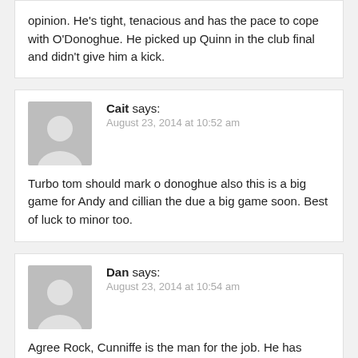opinion. He's tight, tenacious and has the pace to cope with O'Donoghue. He picked up Quinn in the club final and didn't give him a kick.
Cait says:
August 23, 2014 at 10:52 am

Turbo tom should mark o donoghue also this is a big game for Andy and cillian the due a big game soon. Best of luck to minor too.
Dan says:
August 23, 2014 at 10:54 am

Agree Rock, Cunniffe is the man for the job. He has great pace, particularly from a standing start (something that O'Donoghue has also).